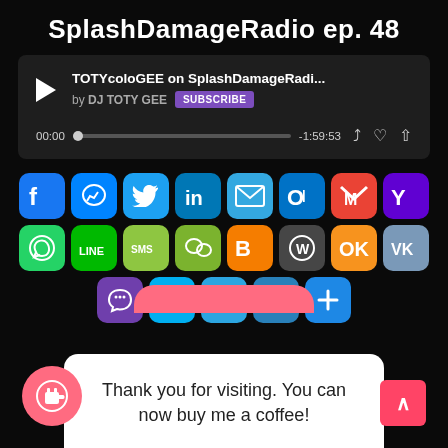SplashDamageRadio ep. 48
[Figure (screenshot): Audio player widget showing track 'TOTYcoloGEE on SplashDamageRadi...' by DJ TOTY GEE with SUBSCRIBE button, progress bar showing 00:00 to -1:59:53]
[Figure (infographic): Grid of social media sharing icon buttons: Facebook, Messenger, Twitter, LinkedIn, Email, Outlook, Gmail, Yahoo, WhatsApp, Line, SMS, WeChat, Blogger, WordPress, Odnoklassniki, VK, Viber, Skype, Telegram, Link, Plus]
Thank you for visiting. You can now buy me a coffee!